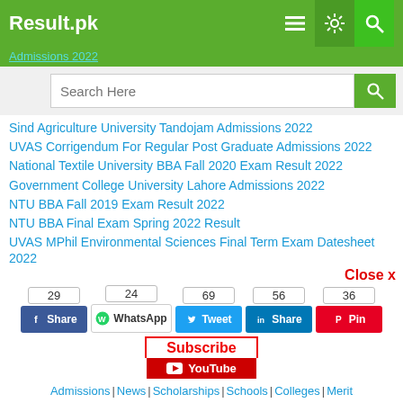Result.pk
Admissions 2022
Search Here
Sind Agriculture University Tandojam Admissions 2022
UVAS Corrigendum For Regular Post Graduate Admissions 2022
National Textile University BBA Fall 2020 Exam Result 2022
Government College University Lahore Admissions 2022
NTU BBA Fall 2019 Exam Result 2022
NTU BBA Final Exam Spring 2022 Result
UVAS MPhil Environmental Sciences Final Term Exam Datesheet 2022
Close x
[Figure (infographic): Social share bar with counts: Facebook Share (29), WhatsApp (24), Tweet (69), LinkedIn Share (56), Pinterest Pin (36). Subscribe and YouTube buttons below.]
Admissions | News | Scholarships | Schools | Colleges | Merit Calculator | Ranking